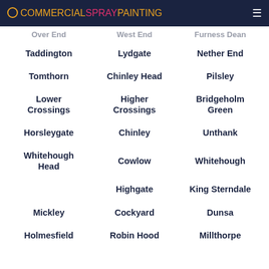COMMERCIALSPRAYPAINTING
Over End | West End | Furness Dean
Taddington
Lydgate
Nether End
Tomthorn
Chinley Head
Pilsley
Lower Crossings
Higher Crossings
Bridgeholm Green
Horsleygate
Chinley
Unthank
Whitehough Head
Cowlow
Whitehough
Highgate
King Sterndale
Mickley
Cockyard
Dunsa
Holmesfield
Robin Hood
Millthorpe